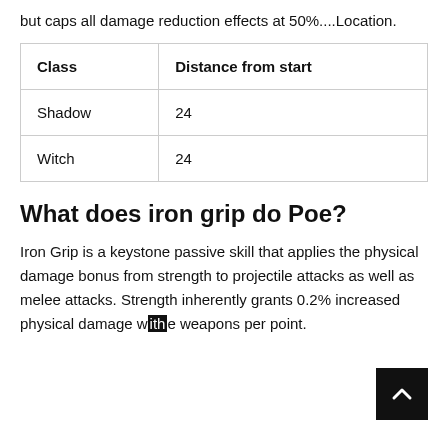but caps all damage reduction effects at 50%....Location.
| Class | Distance from start |
| --- | --- |
| Shadow | 24 |
| Witch | 24 |
What does iron grip do Poe?
Iron Grip is a keystone passive skill that applies the physical damage bonus from strength to projectile attacks as well as melee attacks. Strength inherently grants 0.2% increased physical damage with weapons per point.